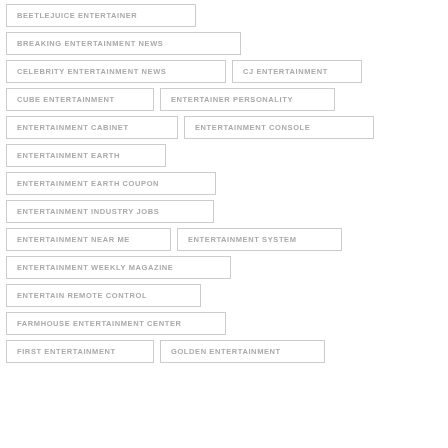BEETLEJUICE ENTERTAINER
BREAKING ENTERTAINMENT NEWS
CELEBRITY ENTERTAINMENT NEWS
CJ ENTERTAINMENT
CUBE ENTERTAINMENT
ENTERTAINER PERSONALITY
ENTERTAINMENT CABINET
ENTERTAINMENT CONSOLE
ENTERTAINMENT EARTH
ENTERTAINMENT EARTH COUPON
ENTERTAINMENT INDUSTRY JOBS
ENTERTAINMENT NEAR ME
ENTERTAINMENT SYSTEM
ENTERTAINMENT WEEKLY MAGAZINE
ENTERTAIN REMOTE CONTROL
FARMHOUSE ENTERTAINMENT CENTER
FIRST ENTERTAINMENT
GOLDEN ENTERTAINMENT